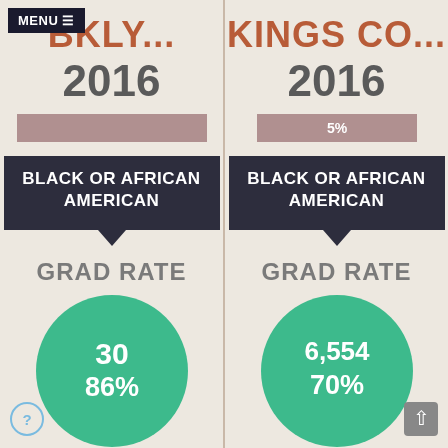MENU ≡
BRKLY...
2016
[Figure (bar-chart): Mauve/rose colored horizontal bar with no label visible]
BLACK OR AFRICAN AMERICAN
GRAD RATE
[Figure (donut-chart): Green circle showing 30 students, 86% graduation rate]
KINGS CO...
2016
[Figure (bar-chart): Mauve horizontal bar labeled 5%]
BLACK OR AFRICAN AMERICAN
GRAD RATE
[Figure (donut-chart): Green circle showing 6,554 students, 70% graduation rate]